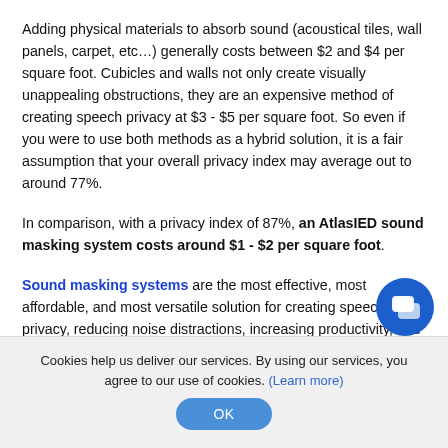Adding physical materials to absorb sound (acoustical tiles, wall panels, carpet, etc…) generally costs between $2 and $4 per square foot. Cubicles and walls not only create visually unappealing obstructions, they are an expensive method of creating speech privacy at $3 - $5 per square foot. So even if you were to use both methods as a hybrid solution, it is a fair assumption that your overall privacy index may average out to around 77%.
In comparison, with a privacy index of 87%, an AtlasIED sound masking system costs around $1 - $2 per square foot.
Sound masking systems are the most effective, most affordable, and most versatile solution for creating speech privacy, reducing noise distractions, increasing productivity, and improving employee comfort and satisfaction.
Cookies help us deliver our services. By using our services, you agree to our use of cookies. (Learn more)